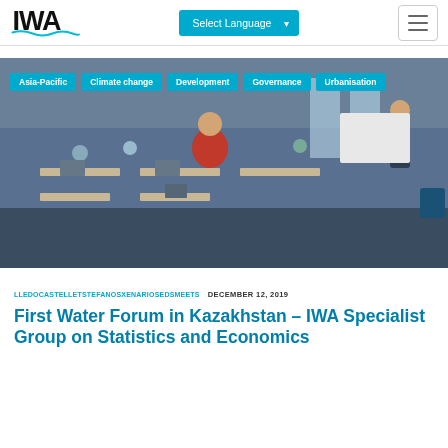IWA | Select Language | Menu
[Figure (photo): Classroom or conference room scene with people seated at desks with laptops; a presenter stands at the front right. Category tags overlay the top of the image: Asia-Pacific, Climate change, Development, Governance, Urbanisation.]
LLEDOCASTELLETSTEFANOSXENARIOSEDSMEETS   DECEMBER 12, 2019
First Water Forum in Kazakhstan – IWA Specialist Group on Statistics and Economics